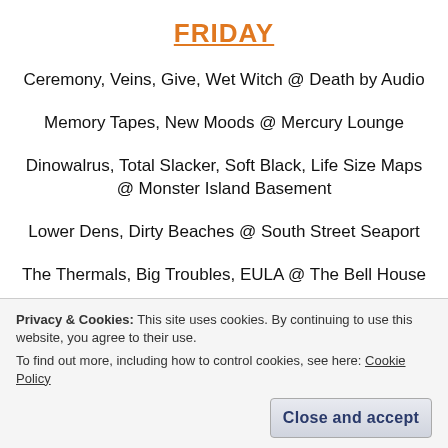FRIDAY
Ceremony, Veins, Give, Wet Witch @ Death by Audio
Memory Tapes, New Moods @ Mercury Lounge
Dinowalrus, Total Slacker, Soft Black, Life Size Maps @ Monster Island Basement
Lower Dens, Dirty Beaches @ South Street Seaport
The Thermals, Big Troubles, EULA @ The Bell House
Standard | Posted in Dance, DJ, Electro Rock, Indie,
Privacy & Cookies: This site uses cookies. By continuing to use this website, you agree to their use. To find out more, including how to control cookies, see here: Cookie Policy
Close and accept